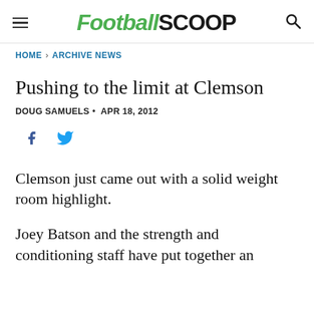FootballScoop
HOME > ARCHIVE NEWS
Pushing to the limit at Clemson
DOUG SAMUELS • APR 18, 2012
[Figure (other): Social share icons: Facebook and Twitter]
Clemson just came out with a solid weight room highlight.
Joey Batson and the strength and conditioning staff have put together an